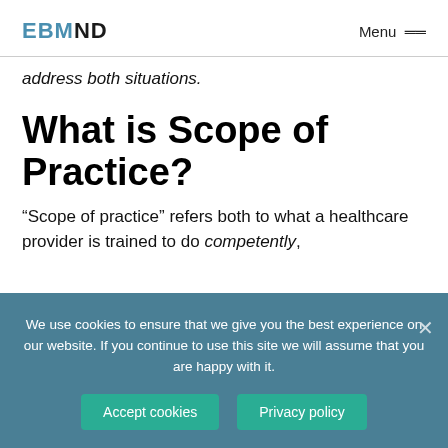EBMND  Menu ☰
address both situations.
What is Scope of Practice?
“Scope of practice” refers both to what a healthcare provider is trained to do competently,
We use cookies to ensure that we give you the best experience on our website. If you continue to use this site we will assume that you are happy with it.